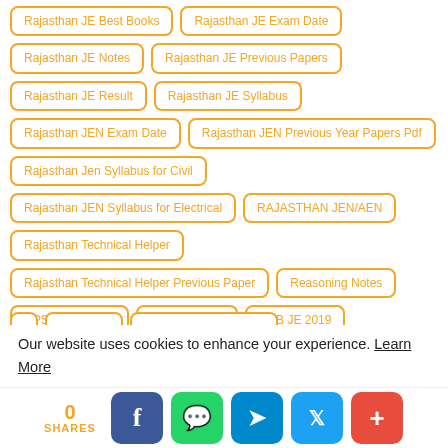Rajasthan JE Best Books
Rajasthan JE Exam Date
Rajasthan JE Notes
Rajasthan JE Previous Papers
Rajasthan JE Result
Rajasthan JE Syllabus
Rajasthan JEN Exam Date
Rajasthan JEN Previous Year Papers Pdf
Rajasthan Jen Syllabus for Civil
Rajasthan JEN Syllabus for Electrical
RAJASTHAN JEN/AEN
Rajasthan Technical Helper
Rajasthan Technical Helper Previous Paper
Reasoning Notes
RPSC AEN 2018
RRB Group D
RRB JE 2019
Our website uses cookies to enhance your experience. Learn More
0 SHARES